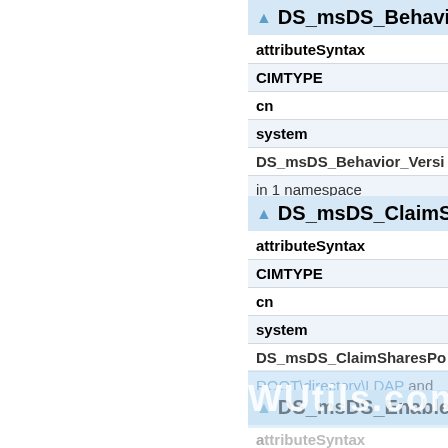DS_msDS_BehaviorVers...
| attributeSyntax |  |
| CIMTYPE |  |
| cn |  |
| system |  |
| DS_msDS_Behavior_Versi... |  |
| in 1 namespace |  |
DS_msDS_ClaimSh...
| attributeSyntax | '2.5... |
| CIMTYPE | 'stri... |
| cn | 'ms-... |
| system | True... |
| DS_msDS_ClaimSharesPo... |  |
| ROOT\directory\LDAP and... |  |
DS_msDS_Enabled...
| attributeSyntax |  |
| CIMTYPE |  |
| cn |  |
[Figure (logo): WUtils.com watermark overlay]